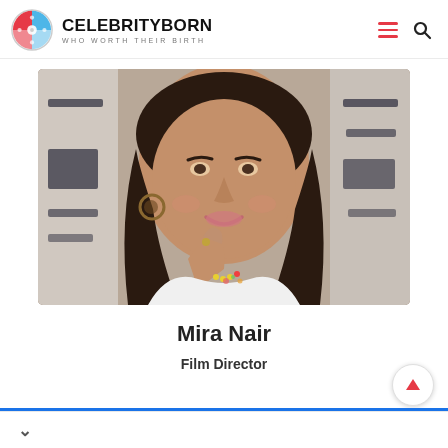CELEBRITYBORN — WHO WORTH THEIR BIRTH
[Figure (photo): Portrait photo of Mira Nair, a woman with dark hair, smiling with her hand near her chin, wearing a white top and floral necklace, with Arabic script signage visible in the background.]
Mira Nair
Film Director